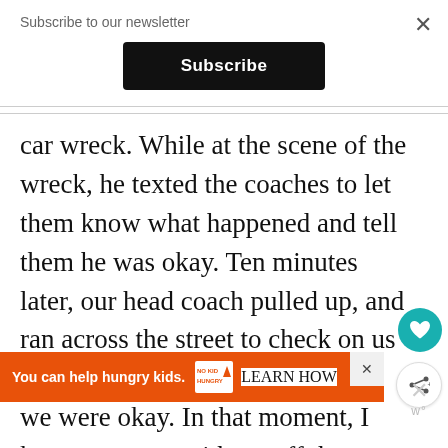Subscribe to our newsletter
Subscribe
car wreck. While at the scene of the wreck, he texted the coaches to let them know what happened and tell them he was okay. Ten minutes later, our head coach pulled up, and ran across the street to check on us and didn't leave until he was sure we were okay. In that moment, I knew we were with a staff that was more than just
[Figure (infographic): Ad banner: orange background with text 'You can help hungry kids.' and No Kid Hungry logo, and a 'LEARN HOW' button]